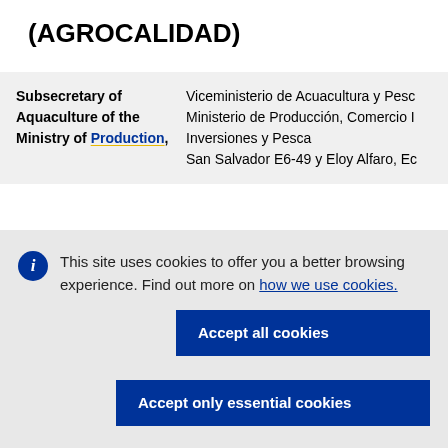(AGROCALIDAD)
| Label | Value |
| --- | --- |
| Subsecretary of Aquaculture of the Ministry of Production, | Viceministerio de Acuacultura y Pesca, Ministerio de Producción, Comercio Inversiones y Pesca
San Salvador E6-49 y Eloy Alfaro, Ec |
This site uses cookies to offer you a better browsing experience. Find out more on how we use cookies.
Accept all cookies
Accept only essential cookies